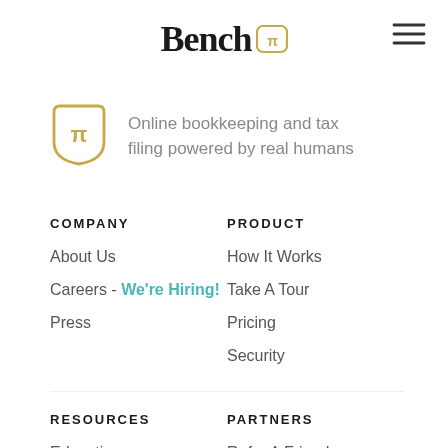[Figure (logo): Bench logo with shield icon containing pi symbol and hamburger menu icon]
Online bookkeeping and tax filing powered by real humans
COMPANY
About Us
Careers - We're Hiring!
Press
PRODUCT
How It Works
Take A Tour
Pricing
Security
RESOURCES
Education
PARTNERS
Refer A Friend